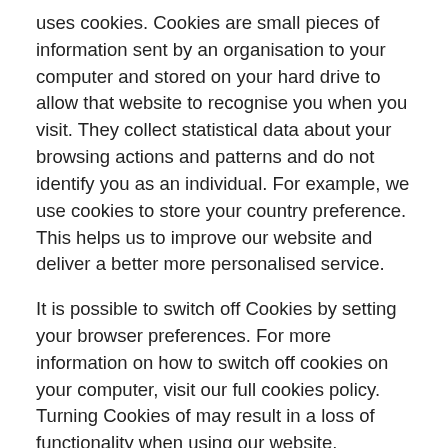uses cookies. Cookies are small pieces of information sent by an organisation to your computer and stored on your hard drive to allow that website to recognise you when you visit. They collect statistical data about your browsing actions and patterns and do not identify you as an individual. For example, we use cookies to store your country preference. This helps us to improve our website and deliver a better more personalised service.
It is possible to switch off Cookies by setting your browser preferences. For more information on how to switch off cookies on your computer, visit our full cookies policy. Turning Cookies of may result in a loss of functionality when using our website.
Links To Other Websites
Our website may contain links to other websites run by other organisations. This privacy policy applies only to our website, so we encourage you to read the privacy statements on the other websites you visit. We cannot be responsible for the privacy policies and practices of other sites even if you access them using links from our website.